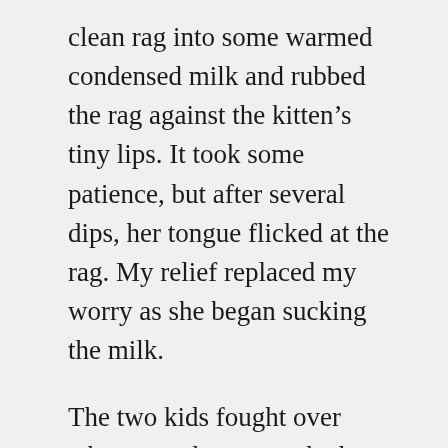clean rag into some warmed condensed milk and rubbed the rag against the kitten's tiny lips. It took some patience, but after several dips, her tongue flicked at the rag. My relief replaced my worry as she began sucking the milk.
The two kids fought over whose cat she was and what to name her. My son wanted to name her Toots, and my daughter insisted on Baby. I settled the argument. The kitten's name became self-